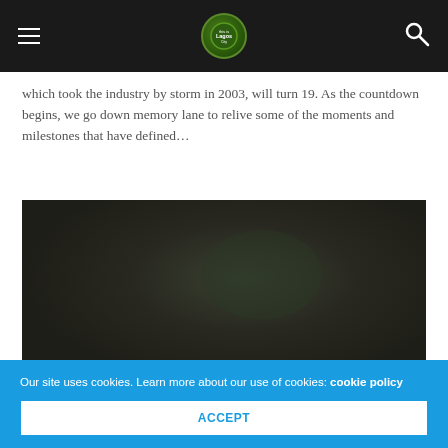[Navigation header with hamburger menu, logo, and search icon]
which took the industry by storm in 2003, will turn 19. As the countdown begins, we go down memory lane to relive some of the moments and milestones that have defined…
[Figure (photo): Dark, nearly black photograph with subtle dark green/brown gradient tones]
Our site uses cookies. Learn more about our use of cookies: cookie policy
ACCEPT